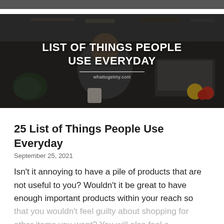[Figure (photo): Hero image of a man wearing glasses working on a laptop in a modern kitchen/workspace. Overlaid white bold text reads 'LIST OF THINGS PEOPLE USE EVERYDAY' with a dividing line and 'whattogetmy.com' below.]
25 List of Things People Use Everyday
September 25, 2021
Isn't it annoying to have a pile of products that are not useful to you? Wouldn't it be great to have enough important products within your reach so that you wouldn't feel guilty about shopping for other items you want? You will also feel a…